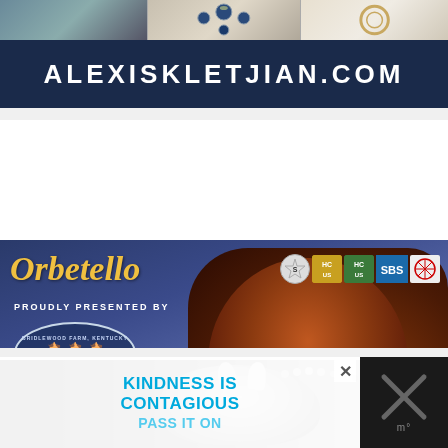[Figure (photo): Top advertisement banner for alexiskletjian.com showing jewelry items above a dark navy banner with the website name in large white letters]
[Figure (advertisement): Orbetello horse advertisement on dark blue/purple background showing a chestnut horse head, gold italic script title 'Orbetello', organization badges, and Bridlewood Farm Kentucky logo with text 'Proudly Presented By']
[Figure (photo): Black and white photo of a horse head with braided mane against dark background]
KINDNESS IS CONTAGIOUS PASS IT ON